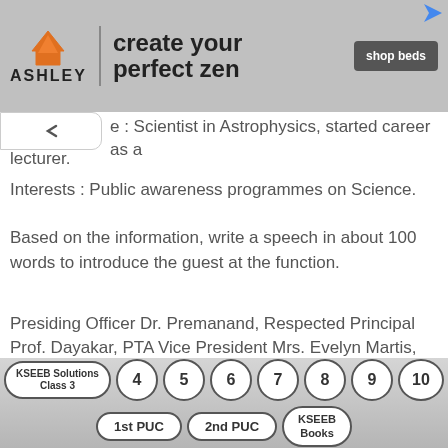[Figure (illustration): Ashley Furniture advertisement banner with logo, 'create your perfect zen' tagline, and 'shop beds' button]
e : Scientist in Astrophysics, started career as a lecturer.
Interests : Public awareness programmes on Science.
Based on the information, write a speech in about 100 words to introduce the guest at the function.
Presiding Officer Dr. Premanand, Respected Principal Prof. Dayakar, PTA Vice President Mrs. Evelyn Martis, Alumni President Mr. Shekhar Poonja, Parents, Faculty members, Students, Press and Invitees,
KSEEB Solutions Class 3
4
5
6
7
8
9
10
1st PUC
2nd PUC
KSEEB Books